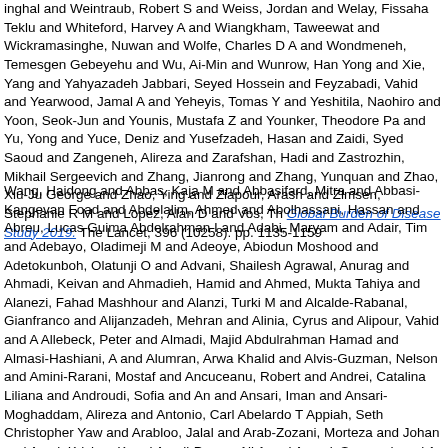Singhal and Weintraub, Robert S and Weiss, Jordan and Welay, Fissaha Teklu and Whiteford, Harvey A and Wiangkham, Taweewat and Wickramasinghe, Nuwan and Wolfe, Charles D A and Wondmeneh, Temesgen Gebeyehu and Wu, Ai-Min and Wunrow, Han Yong and Xie, Yang and Yahyazadeh Jabbari, Seyed Hossein and Feyzabadi, Vahid and Yearwood, Jamal A and Yeheyis, Tomas Y and Yeshitila, Naohiro and Yoon, Seok-Jun and Younis, Mustafa Z and Younker, Theodore Pa and Yu, Yong and Yuce, Deniz and Yusefzadeh, Hasan and Zaidi, Syed Saoud and Zangeneh, Alireza and Zarafshan, Hadi and Zastrozhin, Mikhail Sergeevich and Zhang, Jianrong and Zhang, Yunquan and Zhao, Xiu-Ju George and Zhao, Ying and Ziapour, Arash and Zimsen, Stephanie R M and Lopez, Alan D and Vos, Th Global Burden of Disease Study 2019. The Lancet, 396 (10258). pp. 1135-1159
Wang, Haidong and Abbas, Kaja M and Abbasifard, Mitra and Abbasi-Kangevan Foad and Abdelalim, Ahmed and Abolhassani, Hassan and Abreu, Lucas Guima Abdelrahman I and Adabi, Maryam and Adair, Tim and Adebayo, Oladimeji M and Adeoye, Abiodun Moshood and Adetokunboh, Olatunji O and Advani, Shailesh Agrawal, Anurag and Ahmadi, Keivan and Ahmadieh, Hamid and Ahmed, Mukta Tahiya and Alanezi, Fahad Mashhour and Alanzi, Turki M and Alcalde-Rabanal, Gianfranco and Alijanzadeh, Mehran and Alinia, Cyrus and Alipour, Vahid and A Allebeck, Peter and Almadi, Majid Abdulrahman Hamad and Almasi-Hashiani, A and Alumran, Arwa Khalid and Alvis-Guzman, Nelson and Amini-Rarani, Mostaf and Ancuceanu, Robert and Andrei, Catalina Liliana and Androudi, Sofia and An and Ansari, Iman and Ansari-Moghaddam, Alireza and Antonio, Carl Abelardo T Appiah, Seth Christopher Yaw and Arabloo, Jalal and Arab-Zozani, Morteza and Johan and Aryal, Krishna K and Asadi-Pooya, Ali A and Asgari, Samaneh and A Sudhan and Ausloos, Marcel and Avila-Burgos, Leticia and Avokpaho, Euripide Paulina and Ayano, Getinet and Ayanore, Martin Amogre and Azarian, Ghasem Eleni and Bahrami, Mohammad Amin and Bakhtiari, Ahad and Balassyano, She Barker-Collo, Suzanne Lyn and Bärnighausen, Till Winfried and Barzegar, Akba Mohsen and Bazmandegan, Gholamreza and Bedi, Neeraj and Bell, Michellr L Berhe, Kidanemaryam and Berman, Adam E and Bertolacci, Gregory J and Bh